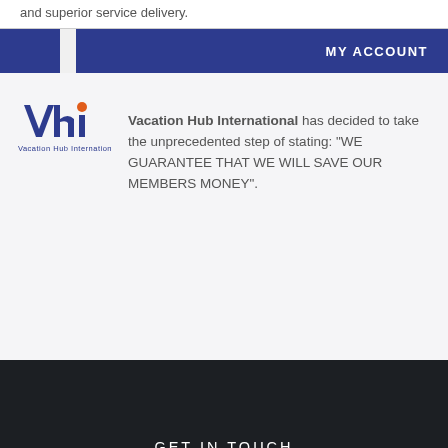and superior service delivery.
MY ACCOUNT
[Figure (logo): VHI - Vacation Hub International logo with blue stylized 'vhi' letters and orange dot accent above the 'i', with full name 'Vacation Hub International' below in blue]
Vacation Hub International has decided to take the unprecedented step of stating: "WE GUARANTEE THAT WE WILL SAVE OUR MEMBERS MONEY".
GET IN TOUCH